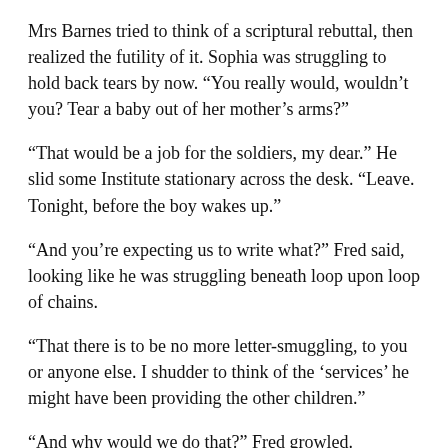Mrs Barnes tried to think of a scriptural rebuttal, then realized the futility of it. Sophia was struggling to hold back tears by now. “You really would, wouldn’t you? Tear a baby out of her mother’s arms?”
“That would be a job for the soldiers, my dear.” He slid some Institute stationary across the desk. “Leave. Tonight, before the boy wakes up.”
“And you’re expecting us to write what?” Fred said, looking like he was struggling beneath loop upon loop of chains.
“That there is to be no more letter-smuggling, to you or anyone else. I shudder to think of the ‘services’ he might have been providing the other children.”
“And why would we do that?” Fred growled.
“The DDHA?” suggested Tiresias, still gently rocking Julia